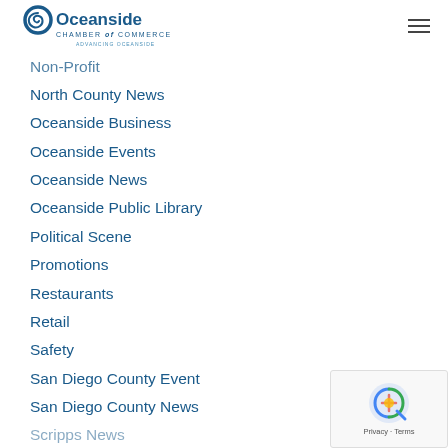Oceanside Chamber of Commerce - Advancing Oceanside
Non-Profit
North County News
Oceanside Business
Oceanside Events
Oceanside News
Oceanside Public Library
Political Scene
Promotions
Restaurants
Retail
Safety
San Diego County Event
San Diego County News
Scripps News